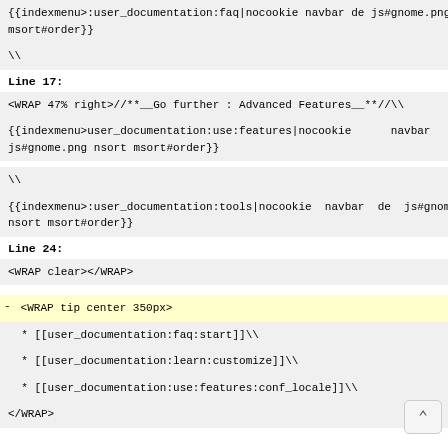{{indexmenu>:user_documentation:faq|nocookie navbar de js#gnome.png msort#order}}
\\
Line 17:
<WRAP 47% right>//**__Go further : Advanced Features__**//\\
{{indexmenu>user_documentation:use:features|nocookie       navbar js#gnome.png nsort msort#order}}
\\
{{indexmenu>:user_documentation:tools|nocookie  navbar  de  js#gnom nsort msort#order}}
Line 24:
<WRAP clear></WRAP>
- <WRAP tip center 350px>
* [[user_documentation:faq:start]]\\
* [[user_documentation:learn:customize]]\\
* [[user_documentation:use:features:conf_locale]]\\
</WRAP>